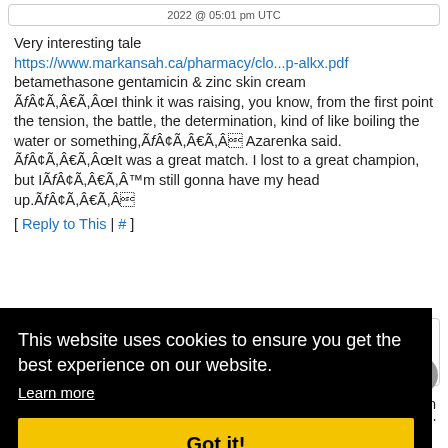2022 @ 05:01 pm UTC
Very interesting tale
https://www.markansah.ca/pharmacy/clo...p-alkx.pdf
betamethasone gentamicin & zinc skin cream
ÃƒÂ¢Ã,€Ã,ÂœI think it was raising, you know, from the first point the tension, the battle, the determination, kind of like boiling the water or something,ÃƒÂ¢Ã,€Ã,Â Azarenka said. ÃƒÂ¢Ã,€Ã,ÂœIt was a great match. I lost to a great champion, but IÃƒÂ¢Ã,€Ã,â„¢m still gonna have my head up.ÃƒÂ¢Ã,€Ã,Â
[ Reply to This | # ]
This website uses cookies to ensure you get the best experience on our website.
Learn more
Got it!
evident in its stone-built Anglican churches and Saturday